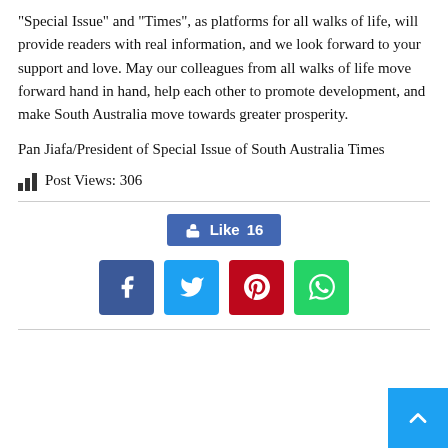"Special Issue" and "Times", as platforms for all walks of life, will provide readers with real information, and we look forward to your support and love. May our colleagues from all walks of life move forward hand in hand, help each other to promote development, and make South Australia move towards greater prosperity.
Pan Jiafa/President of Special Issue of South Australia Times
Post Views: 306
[Figure (infographic): Social sharing bar with Facebook Like button showing 16 likes, and four social media share buttons: Facebook (blue), Twitter (light blue), Pinterest (red), WhatsApp (green)]
[Figure (other): Back to top button (light blue square with white up arrow) in bottom-right corner]